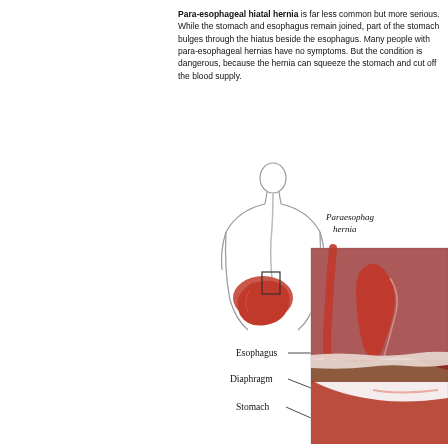Para-esophageal hiatal hernia is far less common but more serious. While the stomach and esophagus remain joined, part of the stomach bulges through the hiatus beside the esophagus. Many people with para-esophageal hernias have no symptoms. But the condition is dangerous, because the hernia can squeeze the stomach and cut off the blood supply.
[Figure (illustration): Medical illustration showing a human torso outline with the esophagus, stomach, and diaphragm labeled. A magnified inset on the right shows a detailed anatomical cross-section of a paraesophageal hernia labeled 'Paraesophageal hernia' with arrows pointing to Esophagus, Diaphragm, and Stomach.]